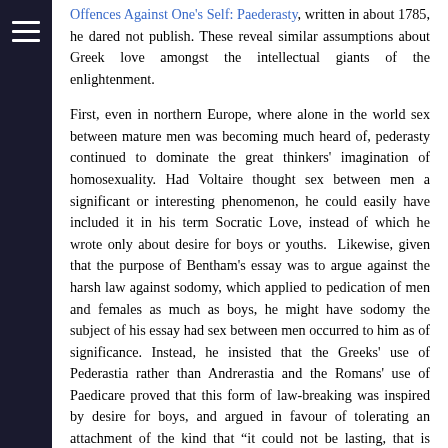Offences Against One's Self: Paederasty, written in about 1785, he dared not publish. These reveal similar assumptions about Greek love amongst the intellectual giants of the enlightenment.
First, even in northern Europe, where alone in the world sex between mature men was becoming much heard of, pederasty continued to dominate the great thinkers' imagination of homosexuality. Had Voltaire thought sex between men a significant or interesting phenomenon, he could easily have included it in his term Socratic Love, instead of which he wrote only about desire for boys or youths. Likewise, given that the purpose of Bentham's essay was to argue against the harsh law against sodomy, which applied to pedication of men and females as much as boys, he might have sodomy the subject of his essay had sex between men occurred to him as of significance. Instead, he insisted that the Greeks' use of Pederastia rather than Andrerastia and the Romans' use of Paedicare proved that this form of law-breaking was inspired by desire for boys, and argued in favour of tolerating an attachment of the kind that “it could not be lasting, that is confined for any length of time to the same individual. … it is only for a very few